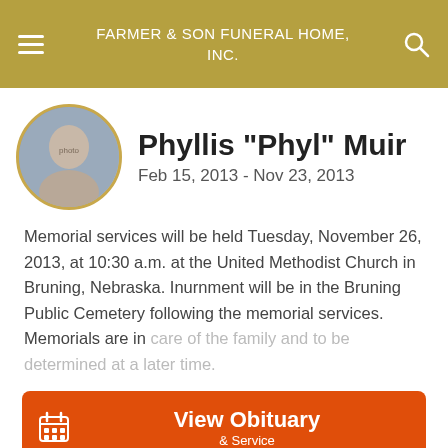FARMER & SON FUNERAL HOME, INC.
Phyllis "Phyl" Muir
Feb 15, 2013 - Nov 23, 2013
Memorial services will be held Tuesday, November 26, 2013, at 10:30 a.m. at the United Methodist Church in Bruning, Nebraska. Inurnment will be in the Bruning Public Cemetery following the memorial services. Memorials are in care of the family and to be determined at a later time.
View Obituary & Service
Send Flowers
Share